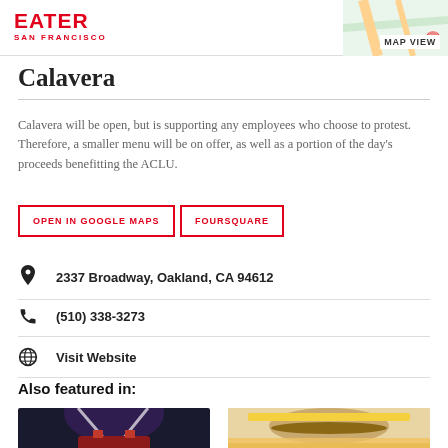EATER SAN FRANCISCO | MAP VIEW
Calavera
Calavera will be open, but is supporting any employees who choose to protest. Therefore, a smaller menu will be on offer, as well as a portion of the day's proceeds benefitting the ACLU.
OPEN IN GOOGLE MAPS
FOURSQUARE
2337 Broadway, Oakland, CA 94612
(510) 338-3273
Visit Website
Also featured in:
[Figure (photo): Event or concert photo with colorful lights]
[Figure (photo): Close-up photo of a burger]